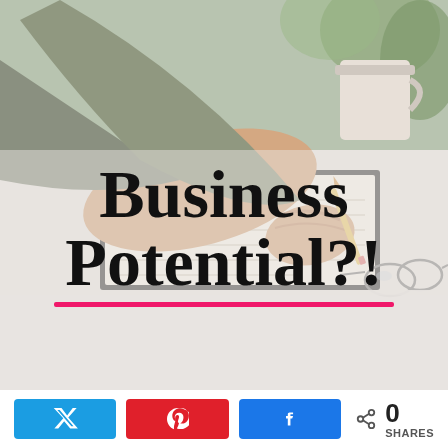[Figure (photo): Hero image showing a person's hand writing in a notebook on a desk, with a mug and glasses in the background. The lower portion has a light gray/white background with the text 'Business Potential?!' in large bold serif font with a hot pink underline beneath it.]
Business Potential?!
[Figure (infographic): Social sharing bar with Twitter (blue), Pinterest (red), and Facebook (blue) share buttons, plus a share count showing 0 SHARES.]